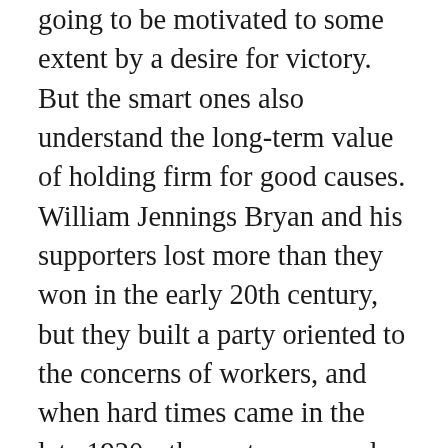going to be motivated to some extent by a desire for victory. But the smart ones also understand the long-term value of holding firm for good causes. William Jennings Bryan and his supporters lost more than they won in the early 20th century, but they built a party oriented to the concerns of workers, and when hard times came in the late 1920s, the party was ready with a relevant message that spoke directly to workers' concerns. Democratic leaders of the 1980s and '90s built a